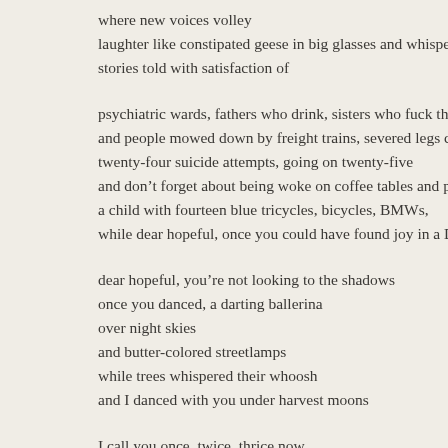where new voices volley
laughter like constipated geese in big glasses and whispered
stories told with satisfaction of
psychiatric wards, fathers who drink, sisters who fuck their you
and people mowed down by freight trains, severed legs carried a
twenty-four suicide attempts, going on twenty-five
and don't forget about being woke on coffee tables and proclain
a child with fourteen blue tricycles, bicycles, BMWs,
while dear hopeful, once you could have found joy in a Dodge S
dear hopeful, you're not looking to the shadows
once you danced, a darting ballerina
over night skies
and butter-colored streetlamps
while trees whispered their whoosh
and I danced with you under harvest moons
I call you once, twice, thrice now